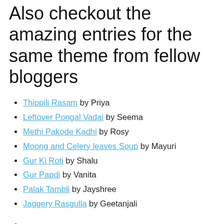Also checkout the amazing entries for the same theme from fellow bloggers
Thippili Rasam by Priya
Leftover Pongal Vadai by Seema
Methi Pakode Kadhi by Rosy
Moong and Celery leaves Soup by Mayuri
Gur Ki Roti by Shalu
Gur Papdi by Vanita
Palak Tambli by Jayshree
Jaggery Rasgulla by Geetanjali
.